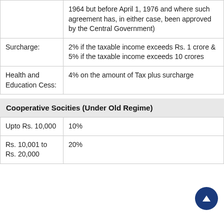|  |  |
| --- | --- |
|  | 1964 but before April 1, 1976 and where such agreement has, in either case, been approved by the Central Government) |
| Surcharge: | 2% if the taxable income exceeds Rs. 1 crore & 5% if the taxable income exceeds 10 crores |
| Health and Education Cess: | 4% on the amount of Tax plus surcharge |
Cooperative Socities (Under Old Regime)
|  |  |
| --- | --- |
| Upto Rs. 10,000 | 10% |
| Rs. 10,001 to Rs. 20,000 | 20% |